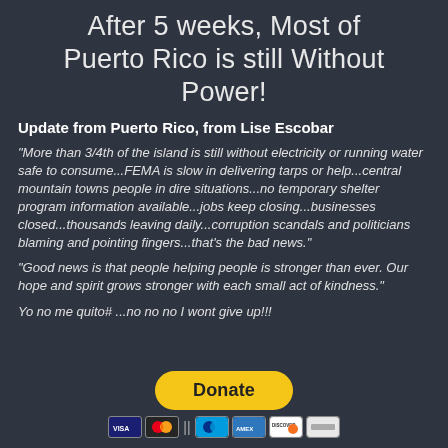After 5 weeks, Most of Puerto Rico is still Without Power!
Update from Puerto Rico, from Lise Escobar
“More than 3/4th of the island is still without electricity or running water safe to consume...FEMA is slow in delivering tarps or help...central mountain towns people in dire situations...no temporary shelter program information available...jobs keep closing...businesses closed...thousands leaving daily...corruption scandals and politicians blaming and pointing fingers...that’s the bad news.”
“Good news is that people helping people is stronger than ever. Our hope and spirit grows stronger with each small act of kindness.”
Yo no me quito# ...no no no I wont give up!!!
[Figure (other): Yellow PayPal Donate button followed by credit card icons (Visa, Mastercard, PayPal, Amex, Discover, and another card)]